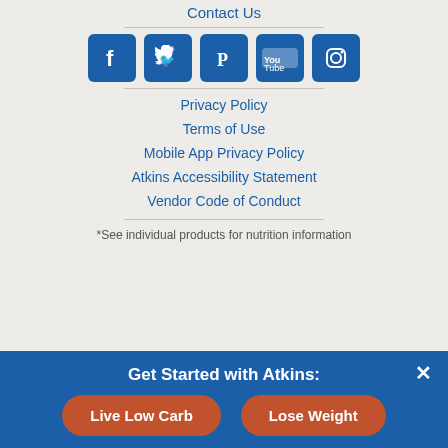Contact Us
[Figure (infographic): Row of five social media icons: Facebook, Twitter, Pinterest, YouTube, Instagram — each as a white icon on a dark blue rounded square background.]
Privacy Policy
Terms of Use
Mobile App Privacy Policy
Atkins Accessibility Statement
Vendor Code of Conduct
*See individual products for nutrition information
Get Started with Atkins:
Live Low Carb   Lose Weight